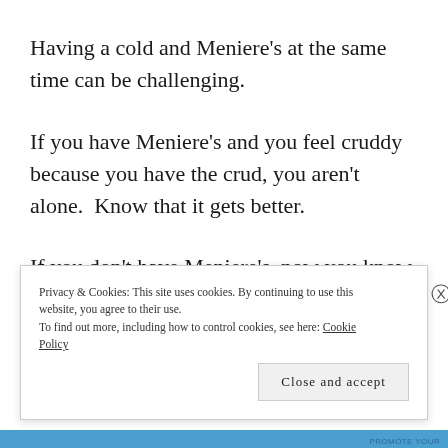Having a cold and Meniere’s at the same time can be challenging.
If you have Meniere’s and you feel cruddy because you have the crud, you aren’t alone.  Know that it gets better.
If you don’t have Meniere’s, now you know a bit about what people with Meniere’s go through when we have a cold.  Some people have more symptoms than I
Privacy & Cookies: This site uses cookies. By continuing to use this website, you agree to their use.
To find out more, including how to control cookies, see here: Cookie Policy
Close and accept